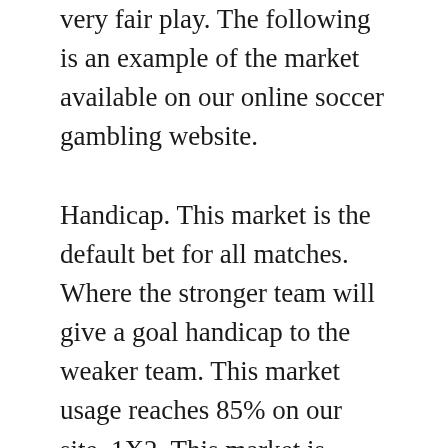very fair play. The following is an example of the market available on our online soccer gambling website.
Handicap. This market is the default bet for all matches. Where the stronger team will give a goal handicap to the weaker team. This market usage reaches 85% on our site. 1X2. This market is suitable for beginner ball bettors. Where you just need to choose one of three options. '1' for home to win, '2' for away option to win. And the 'X' option ended in a draw. You are free to determine your own